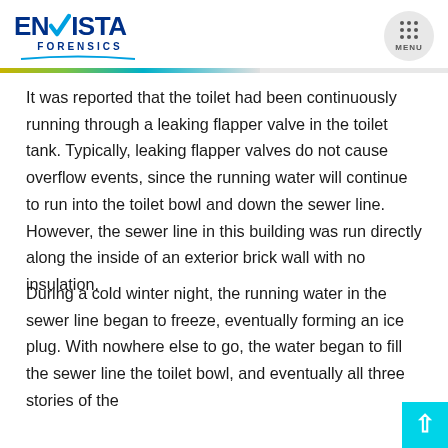ENVISTA FORENSICS
It was reported that the toilet had been continuously running through a leaking flapper valve in the toilet tank. Typically, leaking flapper valves do not cause overflow events, since the running water will continue to run into the toilet bowl and down the sewer line. However, the sewer line in this building was run directly along the inside of an exterior brick wall with no insulation.
During a cold winter night, the running water in the sewer line began to freeze, eventually forming an ice plug. With nowhere else to go, the water began to fill the sewer line the toilet bowl, and eventually all three stories of the